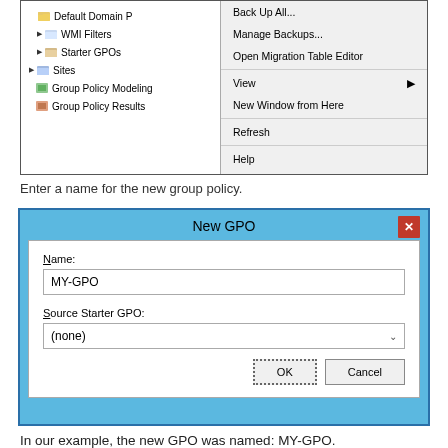[Figure (screenshot): Windows Group Policy Management console showing a tree pane with items (Default Domain P, WMI Filters, Starter GPOs, Sites, Group Policy Modeling, Group Policy Results) and a right-click context menu with options: Back Up All..., Manage Backups..., Open Migration Table Editor, View, New Window from Here, Refresh, Help.]
Enter a name for the new group policy.
[Figure (screenshot): New GPO dialog window with title bar 'New GPO', a Name field containing 'MY-GPO', a Source Starter GPO dropdown showing '(none)', and OK and Cancel buttons.]
In our example, the new GPO was named: MY-GPO.
On the Group Policy Management screen, expand the folder named Group Policy Objects.
Right-click your new Group Policy Object and select the